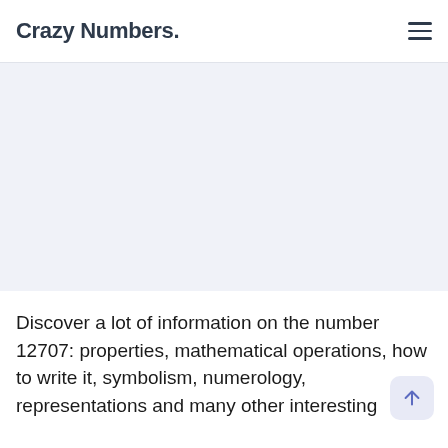Crazy Numbers.
[Figure (other): Advertisement / banner placeholder area with light blue-grey background]
Discover a lot of information on the number 12707: properties, mathematical operations, how to write it, symbolism, numerology, representations and many other interesting